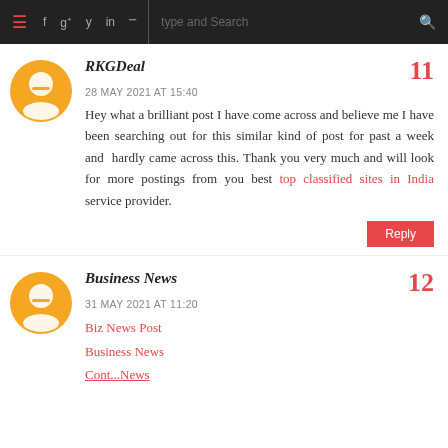≡  f  g+  t  in  )))  | type and Search  🔍
RKGDeal
28 MAY 2021 AT 15:40
Hey what a brilliant post I have come across and believe me I have been searching out for this similar kind of post for past a week and hardly came across this. Thank you very much and will look for more postings from you best top classified sites in India service provider.
[Reply]
Business News
31 MAY 2021 AT 11:20
Biz News Post
Business News
Cont...News